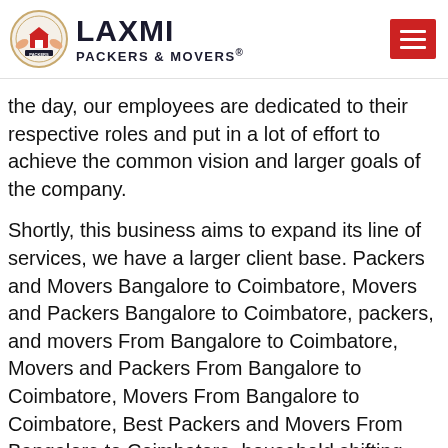[Figure (logo): Laxmi Packers & Movers logo with circular emblem icon on the left and company name text on the right, plus a red hamburger menu button on the far right]
the day, our employees are dedicated to their respective roles and put in a lot of effort to achieve the common vision and larger goals of the company.
Shortly, this business aims to expand its line of services, we have a larger client base. Packers and Movers Bangalore to Coimbatore, Movers and Packers Bangalore to Coimbatore, packers, and movers From Bangalore to Coimbatore, Movers and Packers From Bangalore to Coimbatore, Movers From Bangalore to Coimbatore, Best Packers and Movers From Bangalore to Coimbatore, household shifting From Bangalore to Coimbatore, packers, and movers, movers and packers,